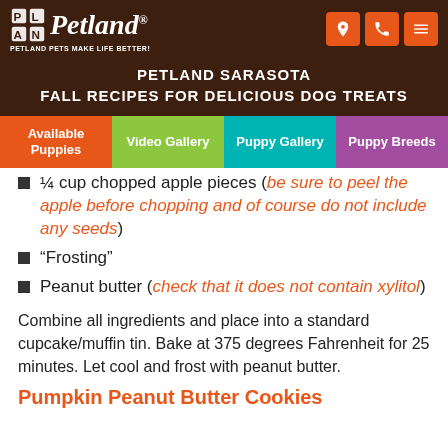Petland — PETLAND PETS MAKE LIFE BETTER!
PETLAND SARASOTA
FALL RECIPES FOR DELICIOUS DOG TREATS
Available Puppies | Video Gallery | Puppy Gallery | Puppy Breeds
¼ cup chopped apple pieces (be sure to peel the apple before chopping and of course do not include any seeds)
“Frosting”
Peanut butter (check that it does not contain xylitol)
Combine all ingredients and place into a standard cupcake/muffin tin. Bake at 375 degrees Fahrenheit for 25 minutes. Let cool and frost with peanut butter.
Pumpkin Peanut Butter Cookies